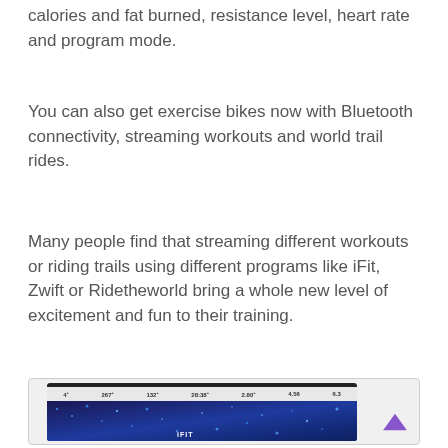calories and fat burned, resistance level, heart rate and program mode.
You can also get exercise bikes now with Bluetooth connectivity, streaming workouts and world trail rides.
Many people find that streaming different workouts or riding trails using different programs like iFit, Zwift or Ridetheworld bring a whole new level of excitement and fun to their training.
[Figure (screenshot): A tablet/screen showing an iFit workout interface with a female fitness trainer on a blue sparkle background. The top display bar shows workout stats: 4, 267, 132, 28:38, 2.80, 4.56, 6.3. The iFit logo is visible on the trainer's shirt.]